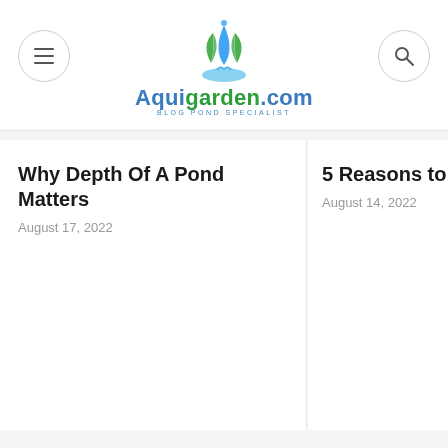Aquigarden.com — Blog Pond Specialist
Why Depth Of A Pond Matters
August 17, 2022
5 Reasons to Ae
August 14, 2022